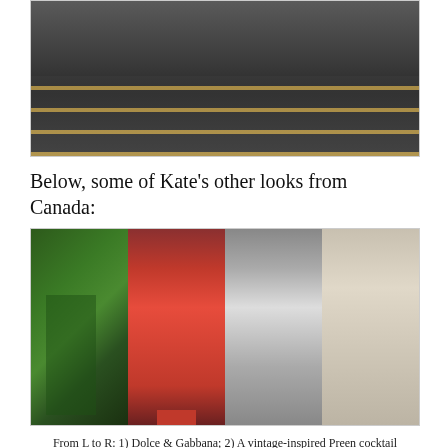[Figure (photo): Photo of people descending airplane stairs, partial view showing legs and feet on yellow-railed steps against a dark background]
Below, some of Kate's other looks from Canada:
[Figure (photo): Four-panel collage of Kate Middleton in different outfits from Canada tour: 1) Green Dolce & Gabbana dress, 2) Red vintage-inspired Preen cocktail dress, 3) Dark jacket with jeans (casual look), 4) Cream outfit while holding a child]
From L to R: 1) Dolce & Gabbana; 2) A vintage-inspired Preen cocktail dress that was many people's favorite look from the tour; 3) A new